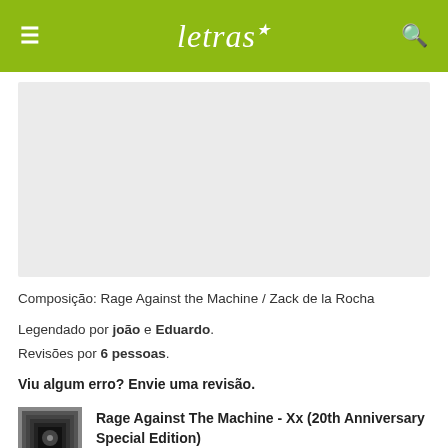letras (logo with menu and search icons)
[Figure (other): Gray advertisement/banner placeholder block]
Composição: Rage Against the Machine / Zack de la Rocha
Legendado por joão e Eduardo.
Revisões por 6 pessoas.
Viu algum erro? Envie uma revisão.
Rage Against The Machine - Xx (20th Anniversary Special Edition)